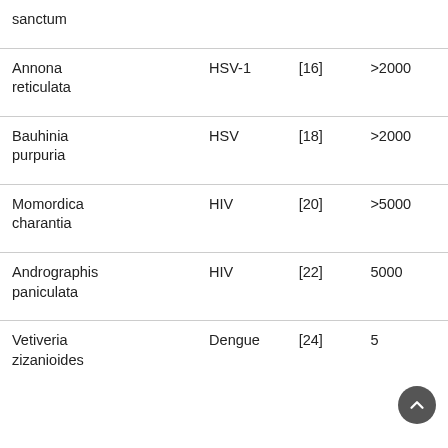| sanctum |  |  |  |
| Annona reticulata | HSV-1 | [16] | >2000 |
| Bauhinia purpuria | HSV | [18] | >2000 |
| Momordica charantia | HIV | [20] | >5000 |
| Andrographis paniculata | HIV | [22] | 5000 |
| Vetiveria zizanioides | Dengue | [24] | 5 |